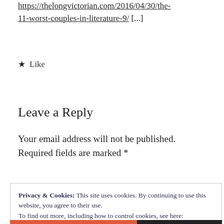https://thelongvictorian.com/2016/04/30/the-11-worst-couples-in-literature-9/ [...]
★ Like
Leave a Reply
Your email address will not be published. Required fields are marked *
Privacy & Cookies: This site uses cookies. By continuing to use this website, you agree to their use.
To find out more, including how to control cookies, see here: Cookie Policy
Close and accept